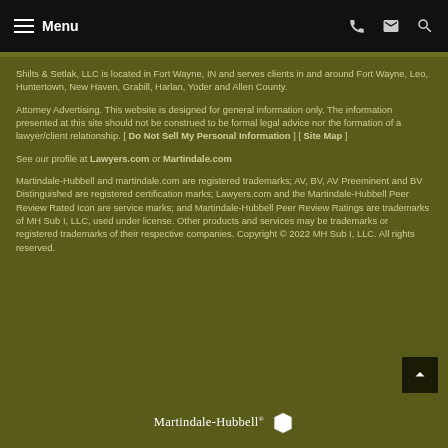Menu
Shilts & Setlak, LLC is located in Fort Wayne, IN and serves clients in and around Fort Wayne, Leo, Huntertown, New Haven, Grabill, Harlan, Yoder and Allen County.
Attorney Advertising. This website is designed for general information only. The information presented at this site should not be construed to be formal legal advice nor the formation of a lawyer/client relationship. [ Do Not Sell My Personal Information ] [ Site Map ]
See our profile at Lawyers.com or Martindale.com
Martindale-Hubbell and martindale.com are registered trademarks; AV, BV, AV Preeminent and BV Distinguished are registered certification marks; Lawyers.com and the Martindale-Hubbell Peer Review Rated Icon are service marks; and Martindale-Hubbell Peer Review Ratings are trademarks of MH Sub I, LLC, used under license. Other products and services may be trademarks or registered trademarks of their respective companies. Copyright © 2022 MH Sub I, LLC. All rights reserved.
[Figure (logo): Martindale-Hubbell logo with hexagon icon]